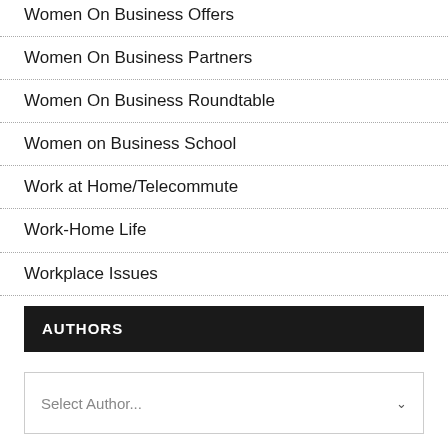Women On Business Offers
Women On Business Partners
Women On Business Roundtable
Women on Business School
Work at Home/Telecommute
Work-Home Life
Workplace Issues
AUTHORS
Select Author...